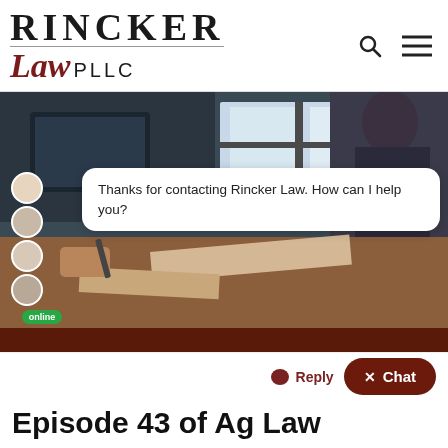[Figure (logo): Rincker Law PLLC logo with serif uppercase RINCKER, italic cursive Law in dark red, and PLLC in sans-serif]
[Figure (photo): Person at desk signing documents, dark office background, warm wooden desk visible in lower portion]
Thanks for contacting Rincker Law. How can I help you?
online
Episode 43 of Ag Law